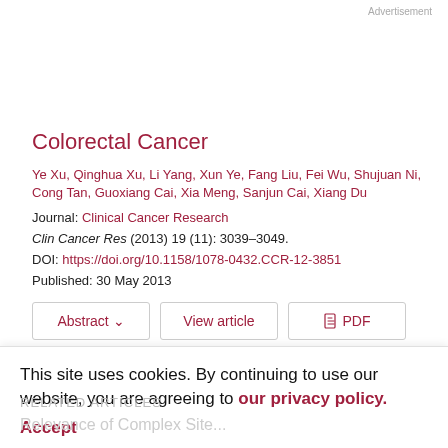Advertisement
Colorectal Cancer
Ye Xu, Qinghua Xu, Li Yang, Xun Ye, Fang Liu, Fei Wu, Shujuan Ni, Cong Tan, Guoxiang Cai, Xia Meng, Sanjun Cai, Xiang Du
Journal: Clinical Cancer Research
Clin Cancer Res (2013) 19 (11): 3039–3049.
DOI: https://doi.org/10.1158/1078-0432.CCR-12-3851
Published: 30 May 2013
Abstract  View article  PDF
This site uses cookies. By continuing to use our website, you are agreeing to our privacy policy. Accept
RELATED ARTICLES
Relevance of Complex Site...